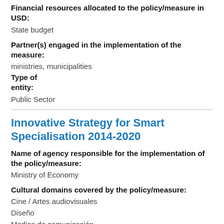Financial resources allocated to the policy/measure in USD:
State budget
Partner(s) engaged in the implementation of the measure:
ministries, municipalities
Type of entity:
Public Sector
Innovative Strategy for Smart Specialisation 2014-2020
Name of agency responsible for the implementation of the policy/measure:
Ministry of Economy
Cultural domains covered by the policy/measure:
Cine / Artes audiovisuales
Diseño
Medios de comunicación